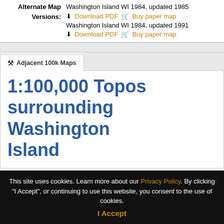Alternate Map: Washington Island WI 1984, updated 1985
Versions: Download PDF | Buy paper map
Washington Island WI 1984, updated 1991
Download PDF | Buy paper map
Adjacent 100k Maps
1:100,000 Topos surrounding Washington Island
This site uses cookies. Learn more about our Privacy Policy. By clicking "I Accept", or continuing to use this website, you consent to the use of cookies.
I Accept